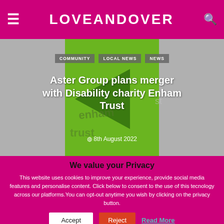LOVE ANDOVER
[Figure (photo): Background image showing Enham Trust green logo/signage with grey tones. Overlaid with article category tags: COMMUNITY, LOCAL NEWS, NEWS. Article title: Aster Group plans merger with Disability charity Enham Trust. Date: 8th August 2022.]
We value your Privacy
This website uses cookies to improve your experience, provide social media features and personalise content. Click below to consent to the use of this tecnology across our platforms.You can opt-out anytime you wish by clicking on the privacy button.